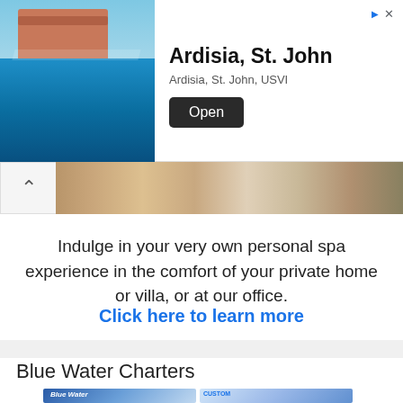[Figure (screenshot): Advertisement banner for Ardisia, St. John with photo of villa pool and 'Open' button]
[Figure (photo): Partial spa image strip with chevron back button]
Indulge in your very own personal spa experience in the comfort of your private home or villa, or at our office.
Click here to learn more
Blue Water Charters
[Figure (logo): Blue Water Charters logo and Custom Boat Trips promotional image with text: island hopping, snorkeling, sunset cruises]